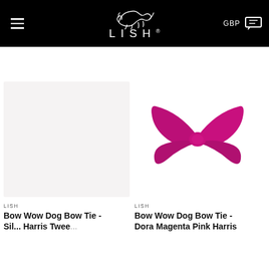LISH — GBP
[Figure (photo): Blank/empty product image placeholder with light grey background]
LISH
Bow Wow Dog Bow Tie - Sil... Harris Tweed
[Figure (photo): Magenta/pink fabric dog bow tie product photo on white background]
LISH
Bow Wow Dog Bow Tie - Dora Magenta Pink Harris